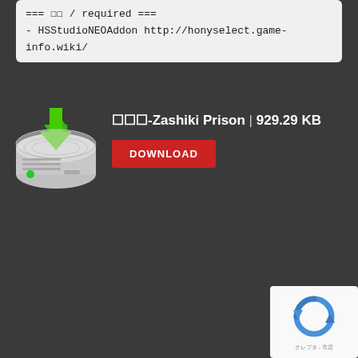=== □□ / required ===
- HSStudioNEOAddon http://honyselect.game-info.wiki/
[Figure (illustration): A hard drive disk icon with a green download arrow on top, indicating a downloadable file.]
□□□-Zashiki Prison | 929.29 KB
DOWNLOAD
[Figure (logo): reCAPTCHA logo with rotating arrows icon and small text below.]